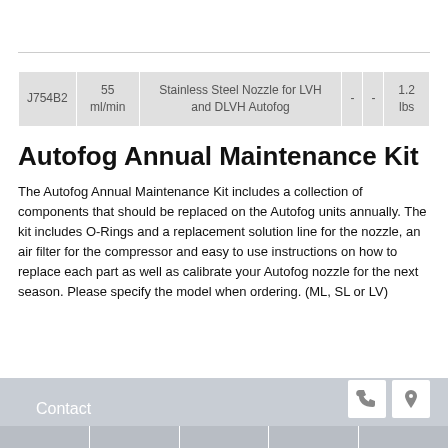| J754B2 | 55 ml/min | Stainless Steel Nozzle for LVH and DLVH Autofog | - | - | 1.2 lbs |
Autofog Annual Maintenance Kit
The Autofog Annual Maintenance Kit includes a collection of components that should be replaced on the Autofog units annually. The kit includes O-Rings and a replacement solution line for the nozzle, an air filter for the compressor and easy to use instructions on how to replace each part as well as calibrate your Autofog nozzle for the next season. Please specify the model when ordering. (ML, SL or LV)
Contact